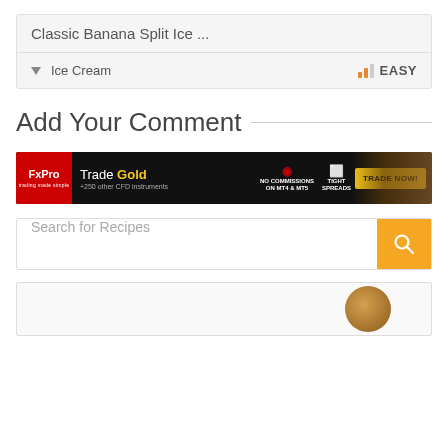Classic Banana Split Ice ...
Ice Cream  EASY
Add Your Comment
[Figure (other): FxPro advertisement banner: Trade Gold +250 other CFD instruments. NO COMMISSIONS ON MT4 & MT5. TIGHT SPREADS. TRADE NOW! Trading CFDs involves significant risk of loss.]
Search for Recipes
[Figure (photo): Partial view of a circular food item at bottom of page]